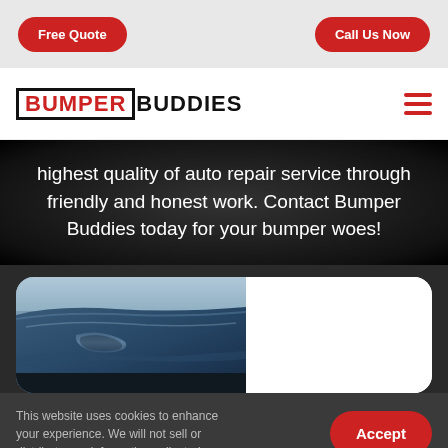Free Quote | Call Us Now
[Figure (logo): Bumper Buddies logo with BUMPER in red box and BUDDIES in black text]
highest quality of auto repair service through friendly and honest work. Contact Bumper Buddies today for your bumper woes!
[Figure (photo): Close-up photo of a blue car hood/bumper showing a dent or damage]
This website uses cookies to enhance your experience. We will not sell or distribute any information collected.